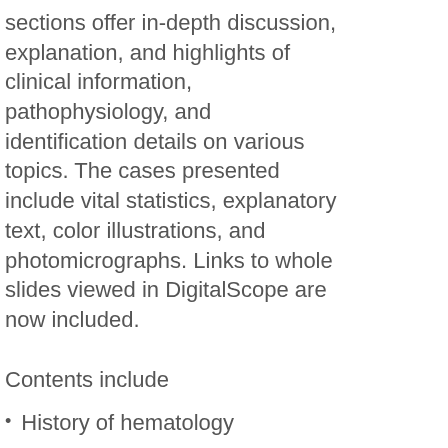sections offer in-depth discussion, explanation, and highlights of clinical information, pathophysiology, and identification details on various topics. The cases presented include vital statistics, explanatory text, color illustrations, and photomicrographs. Links to whole slides viewed in DigitalScope are now included.
Contents include
History of hematology
The complete blood count
Pediatric